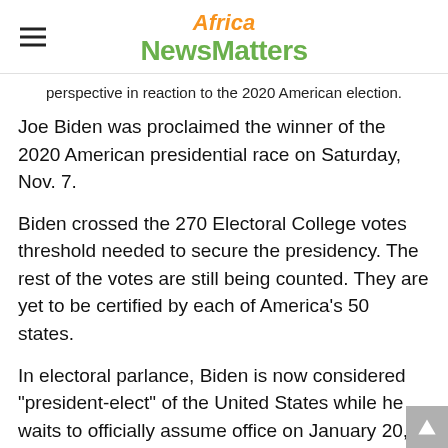Africa NewsMatters
perspective in reaction to the 2020 American election.
Joe Biden was proclaimed the winner of the 2020 American presidential race on Saturday, Nov. 7.
Biden crossed the 270 Electoral College votes threshold needed to secure the presidency. The rest of the votes are still being counted. They are yet to be certified by each of America’s 50 states.
In electoral parlance, Biden is now considered “president-elect” of the United States while he waits to officially assume office on January 20, 2021.
When the call announcing Biden’s victory came from major US news networks, including CNN and the Associated Press (AP), it appeared there